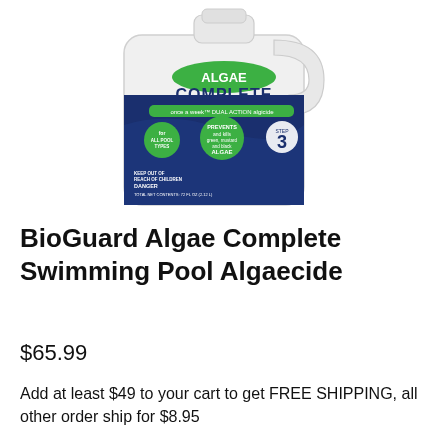[Figure (photo): A large white plastic jug of BioGuard Algae Complete Swimming Pool Algaecide with a navy blue and green label. The label reads 'ALGAE COMPLETE', 'once a week DUAL ACTION algicide', 'for ALL POOL TYPES', 'PREVENTS and kills green, mustard and black ALGAE', 'STEP 3', 'KEEP OUT OF REACH OF CHILDREN', 'DANGER', 'TOTAL NET CONTENTS: 72 FL OZ (2.12 L)']
BioGuard Algae Complete Swimming Pool Algaecide
$65.99
Add at least $49 to your cart to get FREE SHIPPING, all other order ship for $8.95